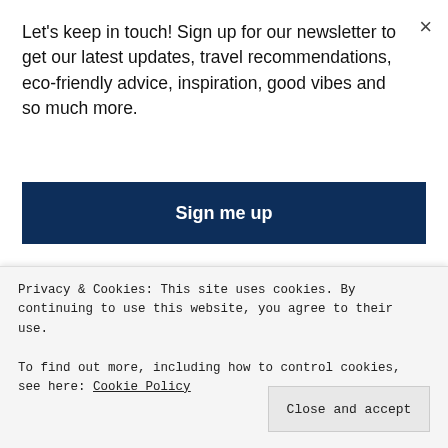actually just a restaurant.
[Figure (photo): Rooftops of stone buildings with chimneys against a light blue sky, with trees and a white building visible below]
Let's keep in touch! Sign up for our newsletter to get our latest updates, travel recommendations, eco-friendly advice, inspiration, good vibes and so much more.
Sign me up
Privacy & Cookies: This site uses cookies. By continuing to use this website, you agree to their use.
To find out more, including how to control cookies, see here: Cookie Policy
Close and accept